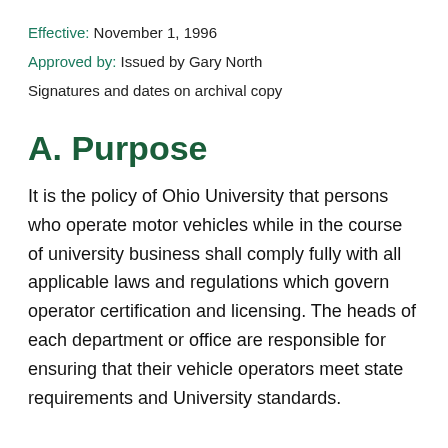Effective: November 1, 1996
Approved by: Issued by Gary North
Signatures and dates on archival copy
A. Purpose
It is the policy of Ohio University that persons who operate motor vehicles while in the course of university business shall comply fully with all applicable laws and regulations which govern operator certification and licensing. The heads of each department or office are responsible for ensuring that their vehicle operators meet state requirements and University standards.